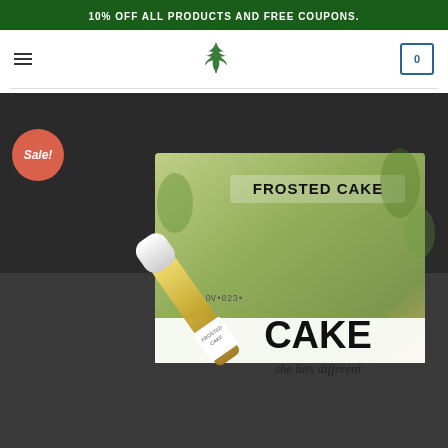10% OFF ALL PRODUCTS AND FREE COUPONS.
[Figure (logo): Cannabis leaf logo in green]
[Figure (photo): Product photo of Frosted Cake cannabis vape cartridge with branded box labeled FROSTED CAKE and tagline 'she hits different'. A Sale! badge is overlaid on the image.]